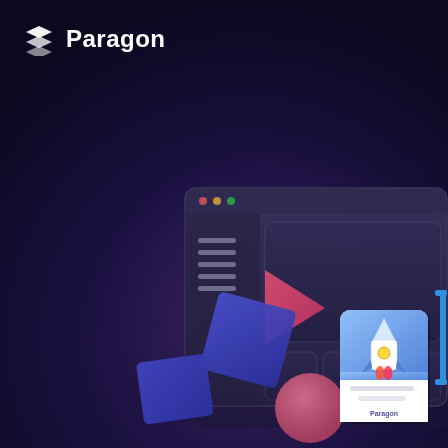[Figure (logo): Paragon logo: stacked layers icon in white/yellow followed by white bold text 'Paragon' on dark navy background]
[Figure (illustration): Dark-themed UI mockup illustration showing a browser/app window wireframe with a sidebar menu (hamburger lines), a large content area, three smaller bottom panels, floating geometric shapes (pink triangle, blue squares, pink circle), a blue bracket/cursor element, and a small card with a rocket illustration. Set against a deep purple-navy gradient background.]